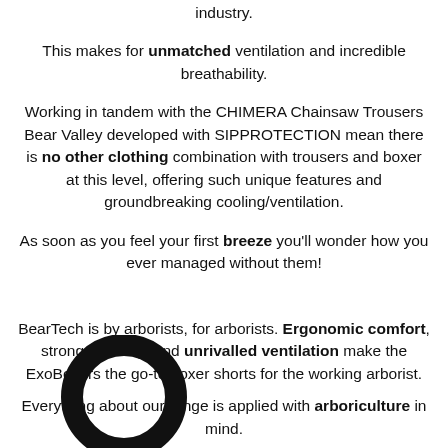industry.
This makes for unmatched ventilation and incredible breathability.
Working in tandem with the CHIMERA Chainsaw Trousers Bear Valley developed with SIPPROTECTION mean there is no other clothing combination with trousers and boxer at this level, offering such unique features and groundbreaking cooling/ventilation.
As soon as you feel your first breeze you'll wonder how you ever managed without them!
BearTech is by arborists, for arborists. Ergonomic comfort, strong stitching, and unrivalled ventilation make the ExoBoxers the go-to boxer shorts for the working arborist.
[Figure (logo): BearTech circular logo — black ring/circle with inner circle forming a stylized letter O or ring shape]
Everything about our range is applied with arboriculture in mind.